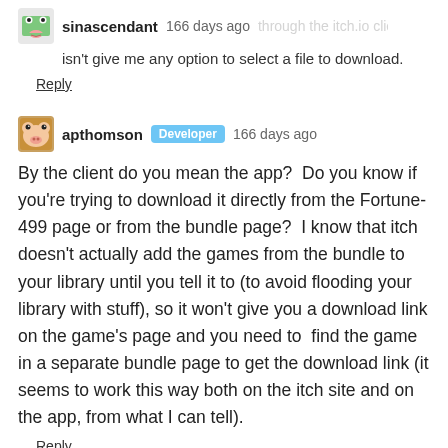sinascendant   166 days ago   [truncated: through the itch.io client and isn't give me any option to select a file to download.]
Reply
apthomson  Developer  166 days ago
By the client do you mean the app?  Do you know if you're trying to download it directly from the Fortune-499 page or from the bundle page?  I know that itch doesn't actually add the games from the bundle to your library until you tell it to (to avoid flooding your library with stuff), so it won't give you a download link on the game's page and you need to  find the game in a separate bundle page to get the download link (it seems to work this way both on the itch site and on the app, from what I can tell).
Reply
sinascendant   166 days ago (1 edit)